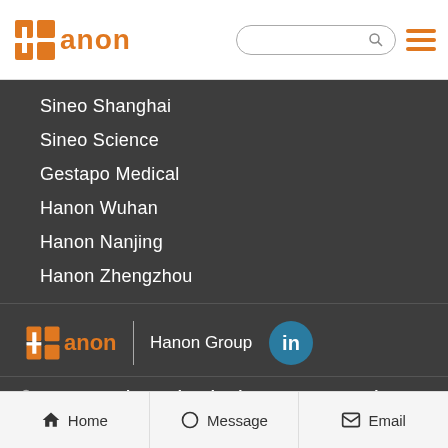Hanon (logo) — search bar — hamburger menu
Sineo Shanghai
Sineo Science
Gestapo Medical
Hanon Wuhan
Hanon Nanjing
Hanon Zhengzhou
[Figure (logo): Hanon logo with orange icon and text, vertical divider, Hanon Group text, LinkedIn icon]
Hanon Advanced Technology Group Co., Ltd
+86 531 88874440
Home | Message | Email